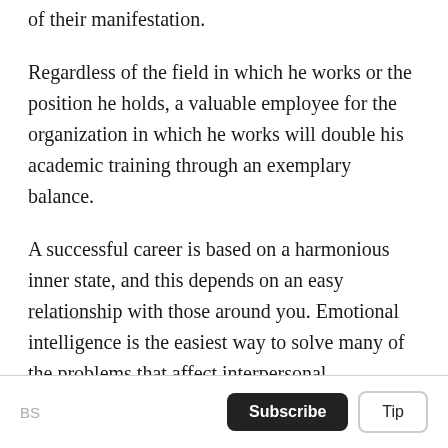of their manifestation.
Regardless of the field in which he works or the position he holds, a valuable employee for the organization in which he works will double his academic training through an exemplary balance.
A successful career is based on a harmonious inner state, and this depends on an easy relationship with those around you. Emotional intelligence is the easiest way to solve many of the problems that affect interpersonal relationships.
BS | Subscribe | Tip